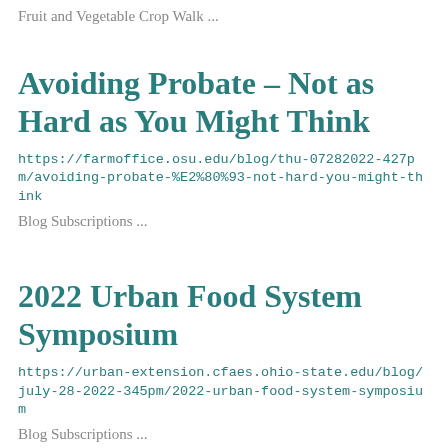Fruit and Vegetable Crop Walk ...
Avoiding Probate – Not as Hard as You Might Think
https://farmoffice.osu.edu/blog/thu-07282022-427pm/avoiding-probate-%E2%80%93-not-hard-you-might-think
Blog Subscriptions ...
2022 Urban Food System Symposium
https://urban-extension.cfaes.ohio-state.edu/blog/july-28-2022-345pm/2022-urban-food-system-symposium
Blog Subscriptions ...